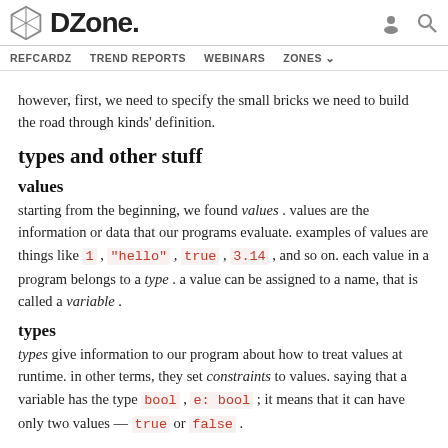DZone. REFCARDZ TREND REPORTS WEBINARS ZONES
however, first, we need to specify the small bricks we need to build the road through kinds' definition.
types and other stuff
values
starting from the beginning, we found values . values are the information or data that our programs evaluate. examples of values are things like 1 , "hello" , true , 3.14 , and so on. each value in a program belongs to a type . a value can be assigned to a name, that is called a variable .
types
types give information to our program about how to treat values at runtime. in other terms, they set constraints to values. saying that a variable has the type bool , e: bool ; it means that it can have only two values — true or false .